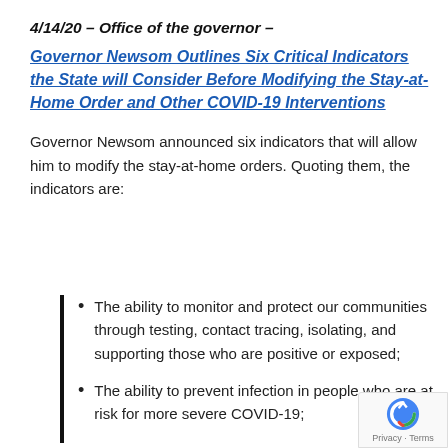4/14/20 – Office of the governor –
Governor Newsom Outlines Six Critical Indicators the State will Consider Before Modifying the Stay-at-Home Order and Other COVID-19 Interventions
Governor Newsom announced six indicators that will allow him to modify the stay-at-home orders. Quoting them, the indicators are:
The ability to monitor and protect our communities through testing, contact tracing, isolating, and supporting those who are positive or exposed;
The ability to prevent infection in people who are at risk for more severe COVID-19;